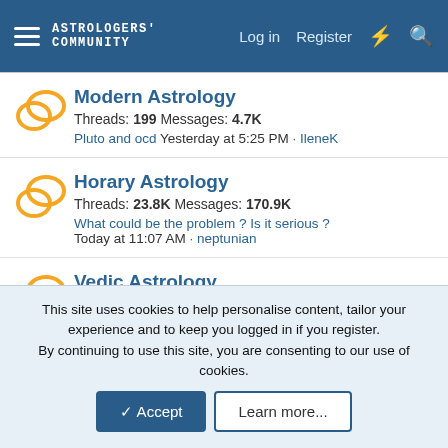ASTROLOGERS COMMUNITY — Log in | Register
Modern Astrology
Threads: 199 Messages: 4.7K
Pluto and ocd Yesterday at 5:25 PM · IleneK
Horary Astrology
Threads: 23.8K Messages: 170.9K
What could be the problem ? Is it serious ? Today at 11:07 AM · neptunian
Vedic Astrology
Threads: 5.5K Messages: 29.6K
Seeking guidance on health issues Today at 9:27 AM · shelley11
Chinese Astrology
This site uses cookies to help personalise content, tailor your experience and to keep you logged in if you register. By continuing to use this site, you are consenting to our use of cookies.